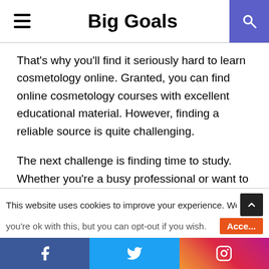Big Goals
That’s why you’ll find it seriously hard to learn cosmetology online. Granted, you can find online cosmetology courses with excellent educational material. However, finding a reliable source is quite challenging.
The next challenge is finding time to study. Whether you’re a busy professional or want to switch career, it isn’t feasible to put your career on hold until you earn your cosmetology degree.
Studying online can help in this area. Some
This website uses cookies to improve your experience. We’ll as you’re ok with this, but you can opt-out if you wish.